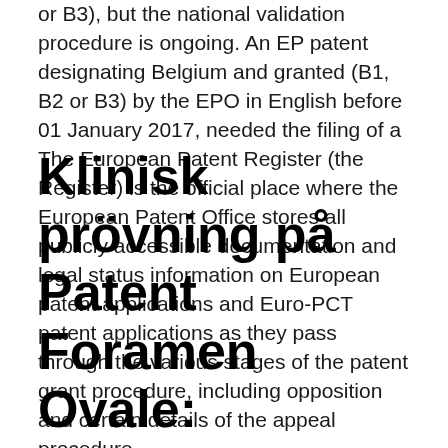or B3), but the national validation procedure is ongoing. An EP patent designating Belgium and granted (B1, B2 or B3) by the EPO in English before 01 January 2017, needed the filing of a The European Patent Register (the Register) is the official place where the European Patent Office stores all publicly accessible documentation and legal status information on European patent applications and Euro-PCT patent applications as they pass through the various stages of the patent grant procedure, including opposition and certain details of the appeal procedure.
Klinisk prövning på Patent Foramen Ovale: